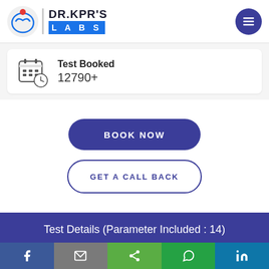[Figure (logo): DR.KPR'S LABS logo with medical icon and blue LABS text on blue background]
Test Booked
12790+
BOOK NOW
GET A CALL BACK
Test Details (Parameter Included : 14)
[Figure (infographic): Social share bar with Facebook, Email, Share, WhatsApp, LinkedIn icons]